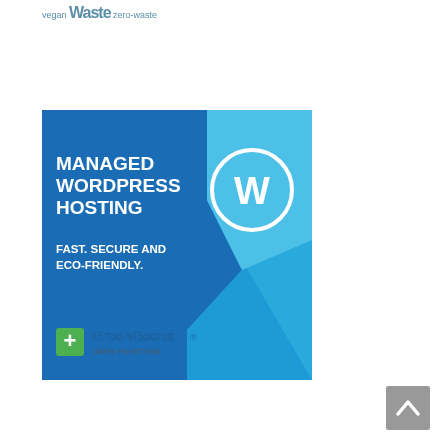vegan  Waste  zero-waste
[Figure (advertisement): GreenGeeks Managed WordPress Hosting advertisement. Dark blue background with lighter blue geometric shapes. Text reads: MANAGED WORDPRESS HOSTING / FAST. SECURE AND ECO-FRIENDLY. WordPress logo (W in circle) in upper right. GreenGeeks web hosting logo with green plus sign in lower left.]
[Figure (other): Gray scroll-to-top button with upward chevron arrow in bottom right corner]